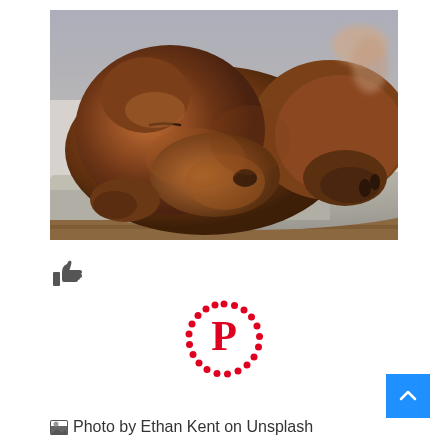[Figure (photo): A sleeping chocolate Labrador puppy lying on a grey blanket, curled up with its head resting on its paws. The dog has rich brown fur. Background shows blurred wooden surface.]
[Figure (other): Thumbs up / like icon in dark grey]
[Figure (logo): Pinterest logo: red P letter inside a circle made of red dots]
Photo by Ethan Kent on Unsplash